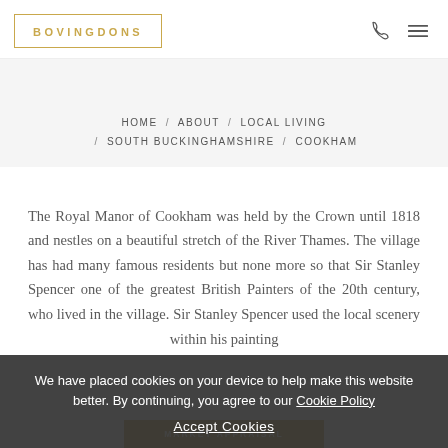BOVINGDONS
HOME / ABOUT / LOCAL LIVING / SOUTH BUCKINGHAMSHIRE / COOKHAM
The Royal Manor of Cookham was held by the Crown until 1818 and nestles on a beautiful stretch of the River Thames. The village has had many famous residents but none more so that Sir Stanley Spencer one of the greatest British Painters of the 20th century, who lived in the village. Sir Stanley Spencer used the local scenery within his painting
We have placed cookies on your device to help make this website better. By continuing, you agree to our Cookie Policy
Accept Cookies
MARKET APPRAISAL